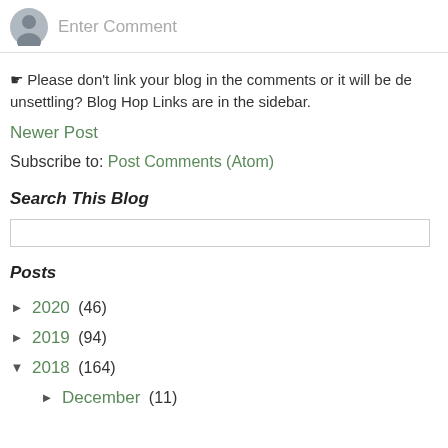[Figure (other): Avatar icon (grey user silhouette) with 'Enter Comment' placeholder text input field]
☛ Please don't link your blog in the comments or it will be de unsettling? Blog Hop Links are in the sidebar.
Newer Post
Subscribe to: Post Comments (Atom)
Search This Blog
[Figure (other): Search input text box]
Posts
► 2020 (46)
► 2019 (94)
▼ 2018 (164)
► December (11)